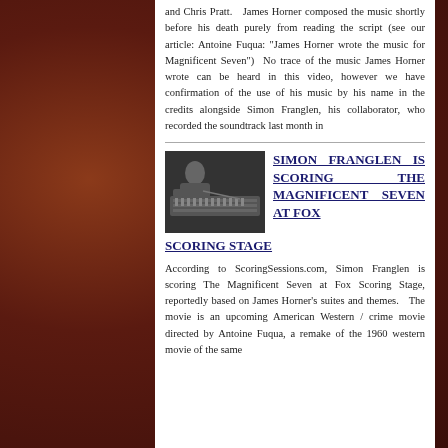and Chris Pratt.   James Horner composed the music shortly before his death purely from reading the script (see our article: Antoine Fuqua: "James Horner wrote the music for Magnificent Seven")  No trace of the music James Horner wrote can be heard in this video, however we have confirmation of the use of his music by his name in the credits alongside Simon Franglen, his collaborator, who recorded the soundtrack last month in
[Figure (photo): Black and white photo of a person at a large mixing console/recording desk in a studio]
SIMON FRANGLEN IS SCORING THE MAGNIFICENT SEVEN AT FOX SCORING STAGE
According to ScoringSessions.com, Simon Franglen is scoring The Magnificent Seven at Fox Scoring Stage, reportedly based on James Horner's suites and themes.   The movie is an upcoming American Western / crime movie directed by Antoine Fuqua, a remake of the 1960 western movie of the same